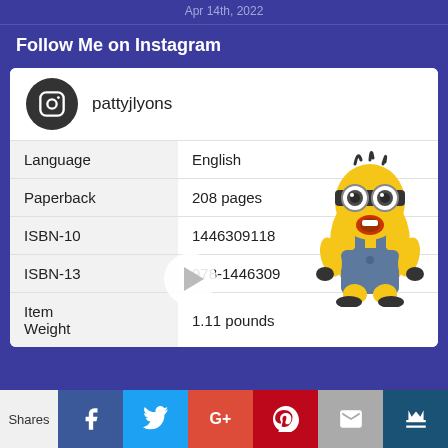Apr 14th, 2022
Follow Me on Instagram
pattyjlyons
|  |  |
| --- | --- |
| Language | English |
| Paperback | 208 pages |
| ISBN-10 | 1446309118 |
| ISBN-13 | 978-1446309 |
| Item Weight | 1.11 pounds |
[Figure (illustration): Minion character (from Despicable Me) overlaid on the book details table, looking surprised]
[Figure (illustration): Play button triangle overlay on card]
Shares | Facebook | Twitter | Google+ | Pinterest | Mail | Crown